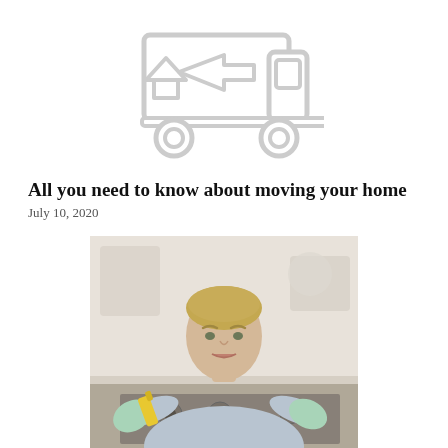[Figure (illustration): Moving truck icon outline illustration in gray/white with house and arrow symbol, shown as a line art logo]
All you need to know about moving your home
July 10, 2020
[Figure (photo): Woman with blonde hair wearing a light blue sweater and mint green rubber gloves, holding a yellow spray bottle in one hand, leaning over a kitchen stovetop. The background shows a kitchen setting.]